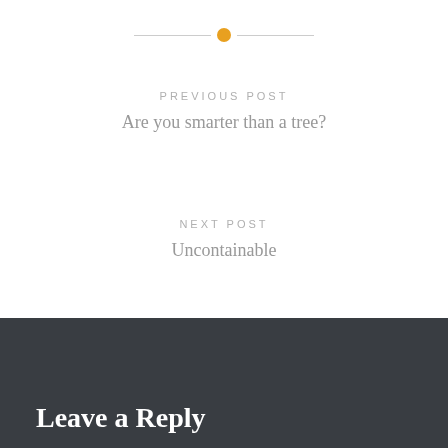[Figure (other): Horizontal divider line with orange circle dot in the center]
PREVIOUS POST
Are you smarter than a tree?
NEXT POST
Uncontainable
Leave a Reply